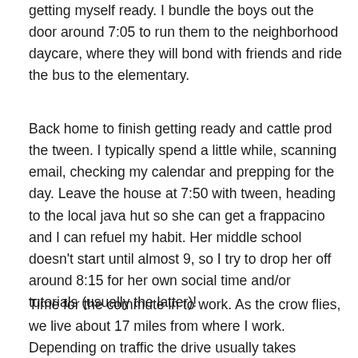getting myself ready. I bundle the boys out the door around 7:05 to run them to the neighborhood daycare, where they will bond with friends and ride the bus to the elementary.
Back home to finish getting ready and cattle prod the tween. I typically spend a little while, scanning email, checking my calendar and prepping for the day. Leave the house at 7:50 with tween, heading to the local java hut so she can get a frappacino and I can refuel my habit. Her middle school doesn't start until almost 9, so I try to drop her off around 8:15 for her own social time and/or tutorials (usually the latter)!
Time for the commute in to work. As the crow flies, we live about 17 miles from where I work. Depending on traffic the drive usually takes between 35-40 minutes due to the myriad of stop lights and school zones. The drive isn't so